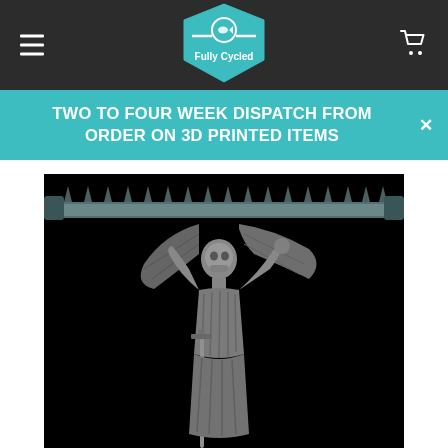Fully Cycled – navigation header with hamburger menu and cart icon
TWO TO FOUR WEEK DISPATCH FROM ORDER ON 3D PRINTED ITEMS
[Figure (photo): 3D render of a Necro Lord fantasy miniature figure — a skeletal undead warrior with bat wings holding a large sword, mounted on a spiked display bar. Text reading NECRO LORD visible vertically on the right side. Black background.]